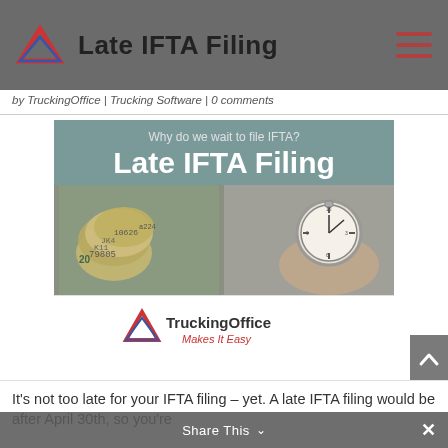Late IFTA Filing
by TruckingOffice | Trucking Software | 0 comments
[Figure (infographic): Infographic banner with teal background showing text 'Why do we wait to file IFTA?' and 'Late IFTA Filing' in large white bold text. Below are two photos side by side: rolled US dollar bills on the left, a hand holding a stopwatch on the right. Below the photos is the TruckingOffice logo with tagline 'Makes It Easy' in red italic.]
It's not too late for your IFTA filing – yet.  A late IFTA filing would be after April 30th, so you're